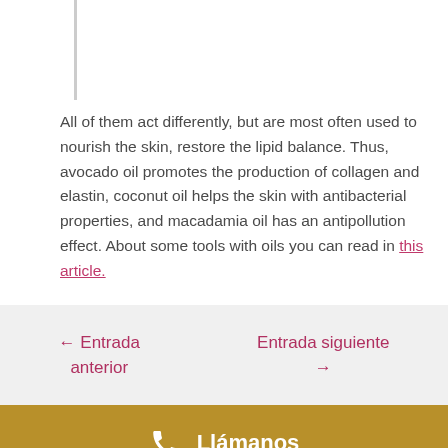All of them act differently, but are most often used to nourish the skin, restore the lipid balance. Thus, avocado oil promotes the production of collagen and elastin, coconut oil helps the skin with antibacterial properties, and macadamia oil has an antipollution effect. About some tools with oils you can read in this article.
← Entrada anterior
Entrada siguiente →
Llámanos